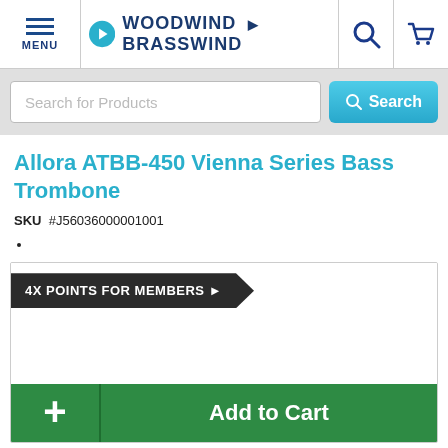[Figure (screenshot): Woodwind & Brasswind website header with menu icon, logo with teal arrow icon, search icon and cart icon]
[Figure (screenshot): Search bar with placeholder 'Search for Products' and teal Search button]
Allora ATBB-450 Vienna Series Bass Trombone
SKU  #J56036000001001
[Figure (screenshot): Product box with '4X POINTS FOR MEMBERS' dark banner and Add to Cart green button with plus sign]